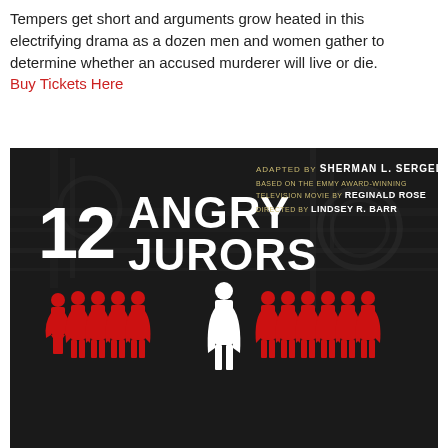Tempers get short and arguments grow heated in this electrifying drama as a dozen men and women gather to determine whether an accused murderer will live or die. Buy Tickets Here
[Figure (illustration): Theatrical poster for '12 Angry Jurors'. Dark background showing silhouettes of jurors — eleven red figures and one central white figure — with bold text '12 ANGRY JURORS'. Credits: Adapted by Sherman L. Sergel, based on the Emmy Award-winning television movie by Reginald Rose, directed by Lindsey R. Barr.]